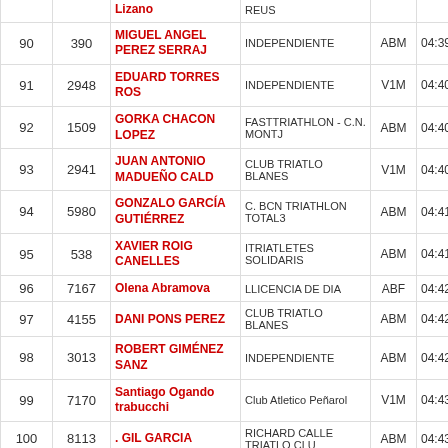| Pos | Dorsal | Nombre | Club | Cat | Tiempo |
| --- | --- | --- | --- | --- | --- |
|  |  | Lizano | REUS |  |  |
| 90 | 390 | MIGUEL ANGEL PEREZ SERRAJ | INDEPENDIENTE | ABM | 04:39 |
| 91 | 2948 | EDUARD TORRES ROS | INDEPENDIENTE | V1M | 04:40 |
| 92 | 1509 | GORKA CHACON LOPEZ | FASTTRIATHLON - C.N. MONTJ | ABM | 04:40 |
| 93 | 2941 | JUAN ANTONIO MADUEÑO CALD | CLUB TRIATLO BLANES | V1M | 04:40 |
| 94 | 5980 | GONZALO GARCÍA GUTIÉRREZ | C. BCN TRIATHLON TOTAL3 | ABM | 04:41 |
| 95 | 538 | XAVIER ROIG CANELLES | ITRIATLETES SOLIDARIS | ABM | 04:41 |
| 96 | 7167 | Olena Abramova | LLICENCIA DE DIA | ABF | 04:42 |
| 97 | 4155 | DANI PONS PEREZ | CLUB TRIATLO BLANES | ABM | 04:42 |
| 98 | 3013 | ROBERT GIMÉNEZ SANZ | INDEPENDIENTE | ABM | 04:42 |
| 99 | 7170 | Santiago Ogando trabucchi | Club Atletico Peñarol | V1M | 04:43 |
| 100 | 8113 | . GIL GARCIA | RICHARD CALLE TRIATLO CLU | ABM | 04:43 |